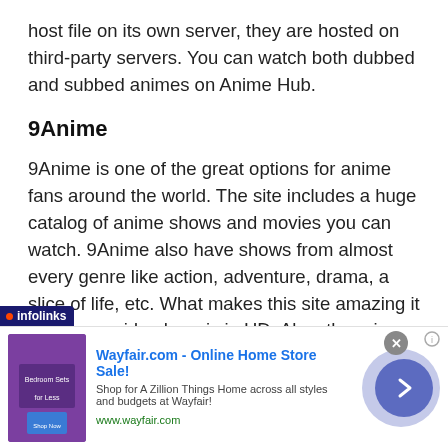host file on its own server, they are hosted on third-party servers. You can watch both dubbed and subbed animes on Anime Hub.
9Anime
9Anime is one of the great options for anime fans around the world. The site includes a huge catalog of anime shows and movies you can watch. 9Anime also have shows from almost every genre like action, adventure, drama, a slice of life, etc. What makes this site amazing it that every video here is in HD. Also, there is no need for
[Figure (screenshot): Advertisement banner for Wayfair.com - Online Home Store Sale! with infolinks badge, product image thumbnail, ad text, close button, and navigation arrow button]